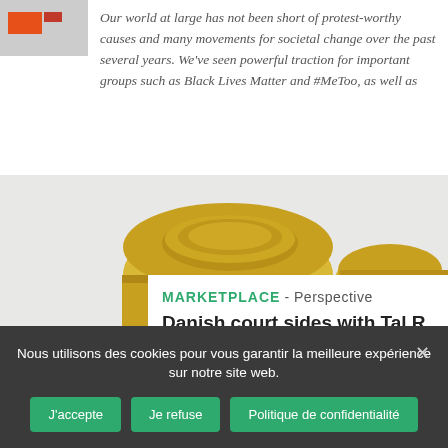[Figure (photo): Small logo thumbnail with orange rectangle on gray background, appears to be a website or publication logo]
Our world at large has not been short of protest-worthy causes and many movements for societal change over the past several years. We've seen powerful traction for important groups such as Black Lives Matter and #MeToo, as well as
[Figure (photo): Close-up photograph of a golden/brass judge's gavel and soundblock on a light gray background]
MARKETPLACE - Perspective
Danish court sides with Tal R blocking watchmakers from cutting up his work
Katherine Keener 3 December 2019
Nous utilisons des cookies pour vous garantir la meilleure expérience sur notre site web.
J'accepte Je refuse Politique de confidentialité